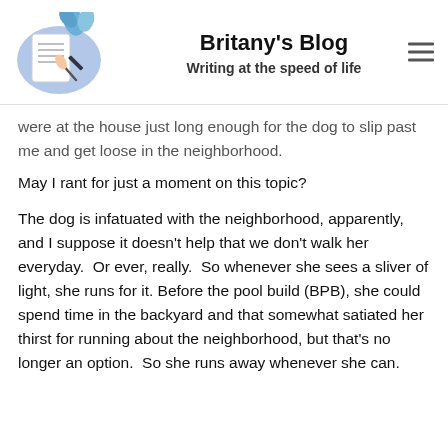[Figure (illustration): Blog header illustration: hands writing on paper with a blue decorative background and a plant, representing a writing/blog theme.]
Britany's Blog
Writing at the speed of life
were at the house just long enough for the dog to slip past me and get loose in the neighborhood.
May I rant for just a moment on this topic?
The dog is infatuated with the neighborhood, apparently, and I suppose it doesn't help that we don't walk her everyday.  Or ever, really.  So whenever she sees a sliver of light, she runs for it.  Before the pool build (BPB), she could spend time in the backyard and that somewhat satiated her thirst for running about the neighborhood, but that's no longer an option.  So she runs away whenever she can.